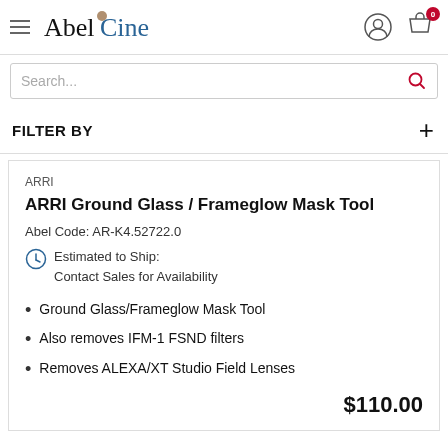AbelCine
Search...
FILTER BY
ARRI
ARRI Ground Glass / Frameglow Mask Tool
Abel Code: AR-K4.52722.0
Estimated to Ship: Contact Sales for Availability
Ground Glass/Frameglow Mask Tool
Also removes IFM-1 FSND filters
Removes ALEXA/XT Studio Field Lenses
$110.00